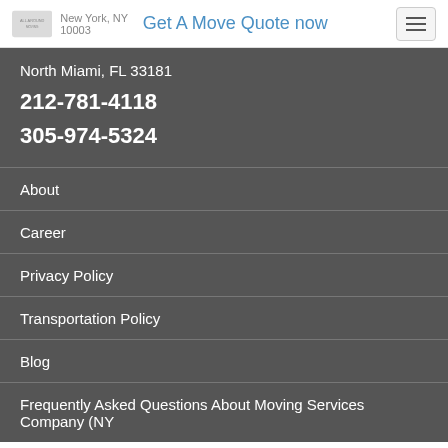New York, NY 10003 | Get A Move Quote now
North Miami, FL 33181
212-781-4118
305-974-5324
About
Career
Privacy Policy
Transportation Policy
Blog
Frequently Asked Questions About Moving Services Company (NY